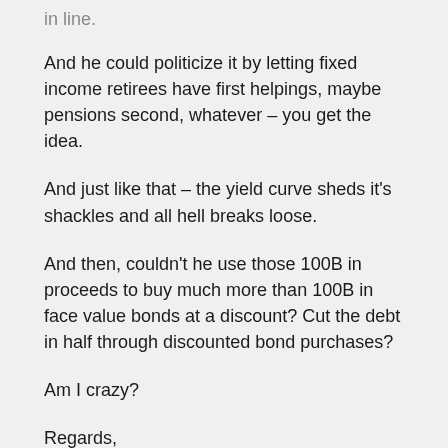in line.
And he could politicize it by letting fixed income retirees have first helpings, maybe pensions second, whatever – you get the idea.
And just like that – the yield curve sheds it's shackles and all hell breaks loose.
And then, couldn't he use those 100B in proceeds to buy much more than 100B in face value bonds at a discount? Cut the debt in half through discounted bond purchases?
Am I crazy?
Regards,
Cooter